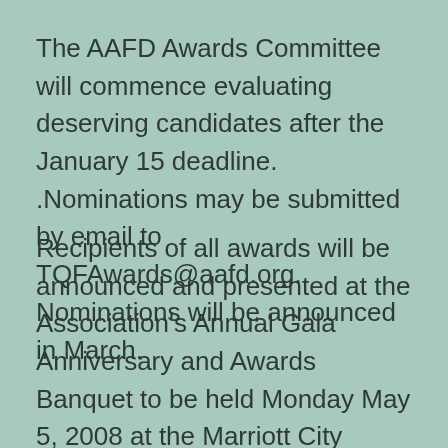The AAFD Awards Committee will commence evaluating deserving candidates after the January 15 deadline. .Nominations may be submitted by email to TQFAwards@aafd.org. Nominations will be announced in March.
Recipients of all awards will be announced and presented at the Association's Annual Gala Anniversary and Awards Banquet to be held Monday May 5, 2008 at the Marriott City Center, Newport News, VA, in conjunction the AAFD Annual Meeting. All AAFD members and friends are encouraged to join us to celebrate